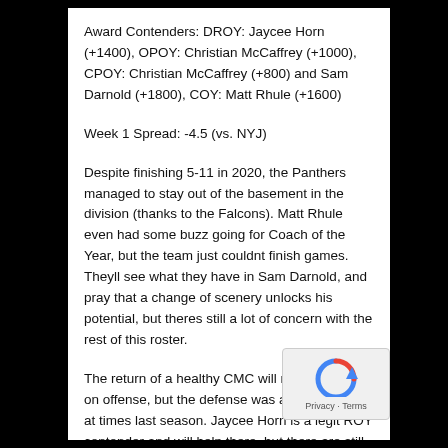Award Contenders: DROY: Jaycee Horn (+1400), OPOY: Christian McCaffrey (+1000), CPOY: Christian McCaffrey (+800) and Sam Darnold (+1800), COY: Matt Rhule (+1600)
Week 1 Spread: -4.5 (vs. NYJ)
Despite finishing 5-11 in 2020, the Panthers managed to stay out of the basement in the division (thanks to the Falcons). Matt Rhule even had some buzz going for Coach of the Year, but the team just couldnt finish games. Theyll see what they have in Sam Darnold, and pray that a change of scenery unlocks his potential, but theres still a lot of concern with the rest of this roster.
The return of a healthy CMC will no doubt help on offense, but the defense was a major issue at times last season. Jaycee Horn is a legit ROY contender and will help there, but there are still a lot of unknowns with this Panthers team. If youre feeling risky, the upside is there for this team to compete, but they have the longest odds in the